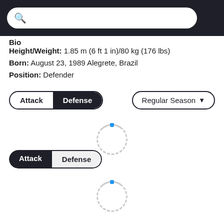Search bar
Bio
Height/Weight: 1.85 m (6 ft 1 in)/80 kg (176 lbs)
Born: August 23, 1989 Alegrete, Brazil
Position: Defender
[Figure (screenshot): Toggle pill button with Attack (white/unselected) and Defense (dark/selected) tabs]
[Figure (screenshot): Regular Season dropdown button]
[Figure (screenshot): Loading spinner with blue dot]
[Figure (screenshot): Toggle pill button with Attack (dark/selected) and Defense (white/unselected) tabs]
[Figure (screenshot): Loading spinner with blue dot]